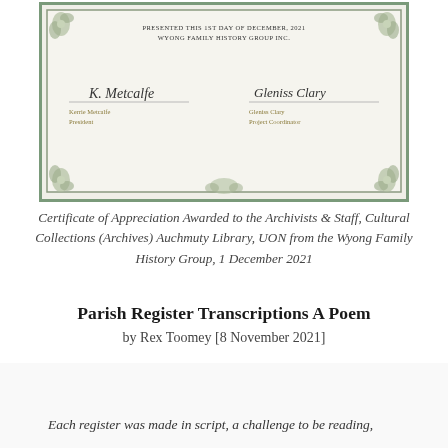[Figure (illustration): Certificate of Appreciation with decorative green border and corner ornaments. Contains text 'PRESENTED THIS 1ST DAY OF DECEMBER, 2021 WYONG FAMILY HISTORY GROUP INC.' with two signature blocks: Kerrie Metcalfe (President) and Gleniss Clary (Project Coordinator).]
Certificate of Appreciation Awarded to the Archivists & Staff, Cultural Collections (Archives) Auchmuty Library, UON from the Wyong Family History Group, 1 December 2021
Parish Register Transcriptions A Poem
by Rex Toomey [8 November 2021]
Each register was made in script, a challenge to be reading,